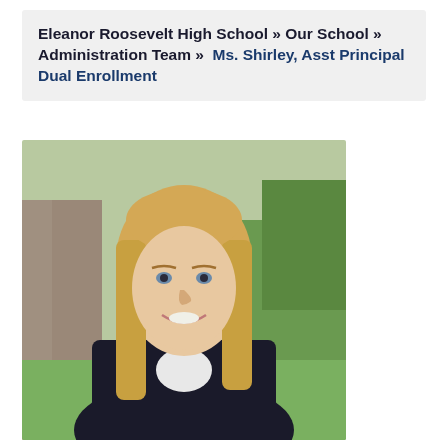Eleanor Roosevelt High School » Our School » Administration Team »  Ms. Shirley, Asst Principal Dual Enrollment
[Figure (photo): Professional headshot of Ms. Shirley, a woman with blonde hair wearing a dark blazer, smiling, photographed outdoors with blurred background of trees and building.]